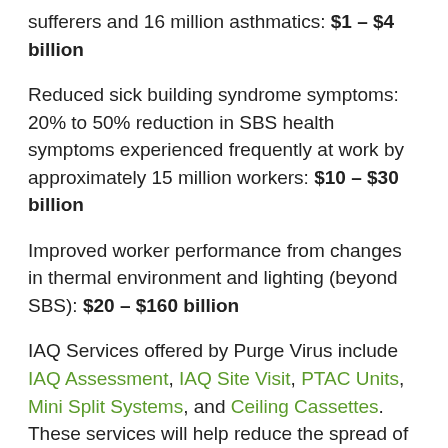sufferers and 16 million asthmatics: $1 – $4 billion
Reduced sick building syndrome symptoms: 20% to 50% reduction in SBS health symptoms experienced frequently at work by approximately 15 million workers: $10 – $30 billion
Improved worker performance from changes in thermal environment and lighting (beyond SBS): $20 – $160 billion
IAQ Services offered by Purge Virus include IAQ Assessment, IAQ Site Visit, PTAC Units, Mini Split Systems, and Ceiling Cassettes. These services will help reduce the spread of COVID-19 and promote Indoor Air Quality for businesses in Alabama.